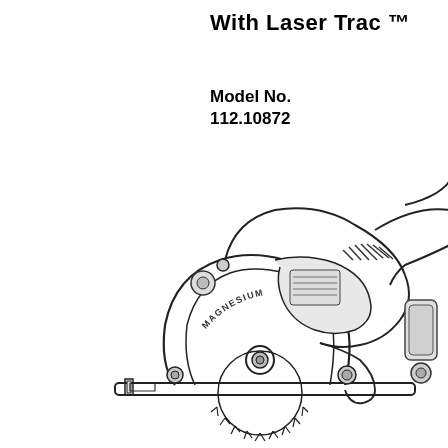With Laser Trac ™
Model No.
112.10872
[Figure (engineering-diagram): Technical line drawing illustration of a circular saw (Model No. 112.10872) viewed from the side, showing the magnesium blade guard, blade, motor housing, handle, and various mechanical components. The word MAGNESIUM is visible on the lower guard arc. The circular saw blade with teeth is visible at the bottom.]